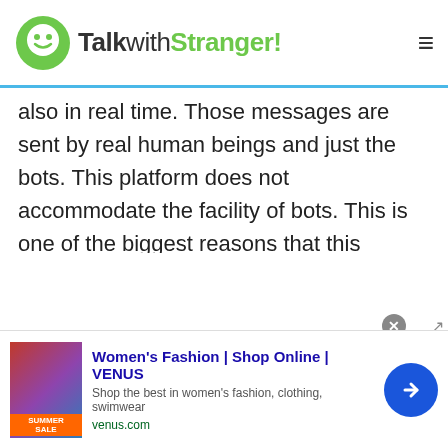TalkwithStranger!
also in real time. Those messages are sent by real human beings and just the bots. This platform does not accommodate the facility of bots. This is one of the biggest reasons that this platform is one of the best websites if you want to talk to a stranger online.
Alongside this application is way more than just a regular Estonian chatting site. Those chatting sites are mostly scam and have bots that are talking with another gender. Their main purpose is to take advantage of the other people's needs and wants.
[Figure (screenshot): Advertisement banner for Women's Fashion at VENUS website with image of woman in summer sale clothing]